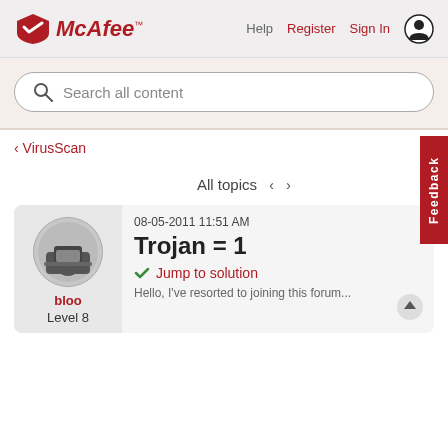[Figure (logo): McAfee logo with red shield icon and italic red McAfee text with trademark symbol]
Help   Register   Sign In
[Figure (screenshot): Search bar with placeholder text 'Search all content']
‹ VirusScan
All topics  ‹  ›
08-05-2011 11:51 AM
Trojan = 1
✓ Jump to solution
bloo
Level 8
Hello, I've resorted to joining this forum...